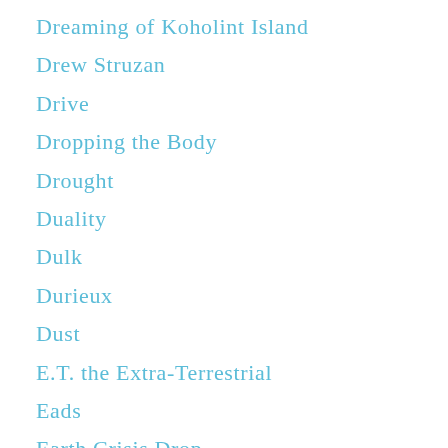Dreaming of Koholint Island
Drew Struzan
Drive
Dropping the Body
Drought
Duality
Dulk
Durieux
Dust
E.T. the Extra-Terrestrial
Eads
Earth Crisis Drop
Eastern Suspenso
Echo Repeat
Eclipse